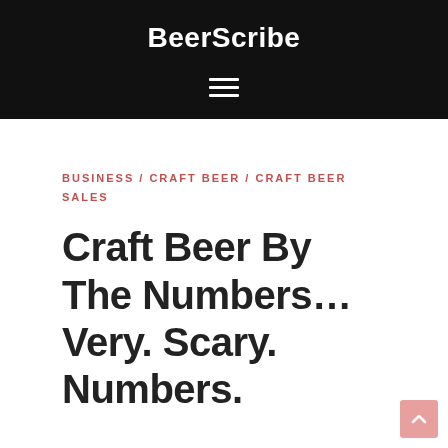BeerScribe
BUSINESS / CRAFT BEER / CRAFT BEER SALES
Craft Beer By The Numbers…Very. Scary. Numbers.
I don't usually do much linking here, but my buddy